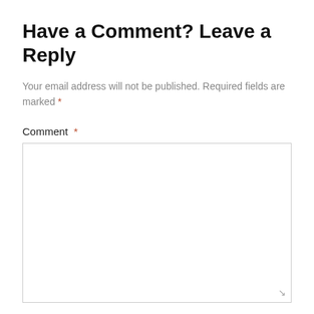Have a Comment? Leave a Reply
Your email address will not be published. Required fields are marked *
Comment *
Name *